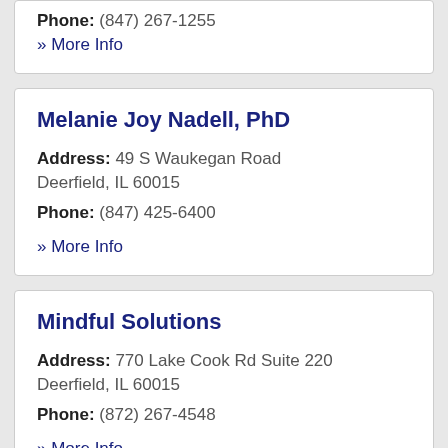Phone: (847) 267-1255
» More Info
Melanie Joy Nadell, PhD
Address: 49 S Waukegan Road Deerfield, IL 60015
Phone: (847) 425-6400
» More Info
Mindful Solutions
Address: 770 Lake Cook Rd Suite 220 Deerfield, IL 60015
Phone: (872) 267-4548
» More Info